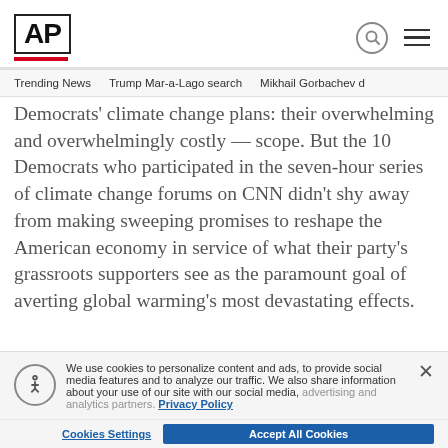AP
Trending News   Trump Mar-a-Lago search   Mikhail Gorbachev d
Democrats' climate change plans: their overwhelming and overwhelmingly costly — scope. But the 10 Democrats who participated in the seven-hour series of climate change forums on CNN didn't shy away from making sweeping promises to reshape the American economy in service of what their party's grassroots supporters see as the paramount goal of averting global warming's most devastating effects.
We use cookies to personalize content and ads, to provide social media features and to analyze our traffic. We also share information about your use of our site with our social media, advertising and analytics partners. Privacy Policy
Cookies Settings   Accept All Cookies